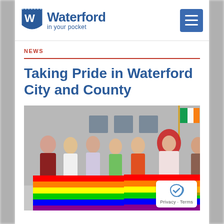Waterford in your pocket
NEWS
Taking Pride in Waterford City and County
[Figure (photo): Seven people standing together outdoors in front of a grey building, holding large rainbow Pride flags. Group includes men and women, one person with long red hair in a white dress. Irish flag visible on a pole in the background.]
Privacy · Terms